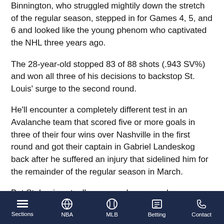Binnington, who struggled mightily down the stretch of the regular season, stepped in for Games 4, 5, and 6 and looked like the young phenom who captivated the NHL three years ago.
The 28-year-old stopped 83 of 88 shots (.943 SV%) and won all three of his decisions to backstop St. Louis' surge to the second round.
He'll encounter a completely different test in an Avalanche team that scored five or more goals in three of their four wins over Nashville in the first round and got their captain in Gabriel Landeskog back after he suffered an injury that sidelined him for the remainder of the regular season in March.
But St. Louis actually averaged more goals per game than the Avalanche (ever-so-slightly), which will test its banged-up
Sections | NBA | MLB | Betting | Contact